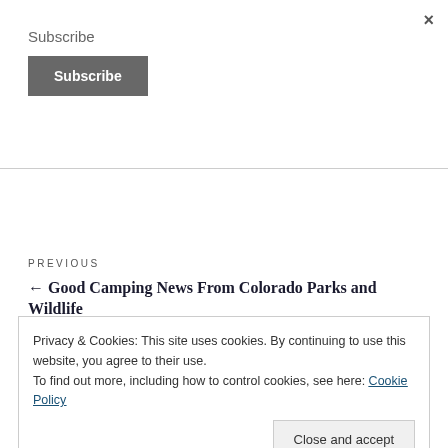×
Subscribe
Subscribe
PREVIOUS
← Good Camping News From Colorado Parks and Wildlife
Privacy & Cookies: This site uses cookies. By continuing to use this website, you agree to their use.
To find out more, including how to control cookies, see here: Cookie Policy
Close and accept